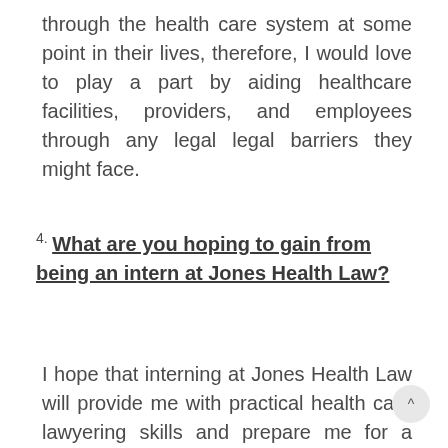through the health care system at some point in their lives, therefore, I would love to play a part by aiding healthcare facilities, providers, and employees through any legal barriers they might face.
4. What are you hoping to gain from being an intern at Jones Health Law?
I hope that interning at Jones Health Law will provide me with practical health care lawyering skills and prepare me for a future career navigating and analyzing...